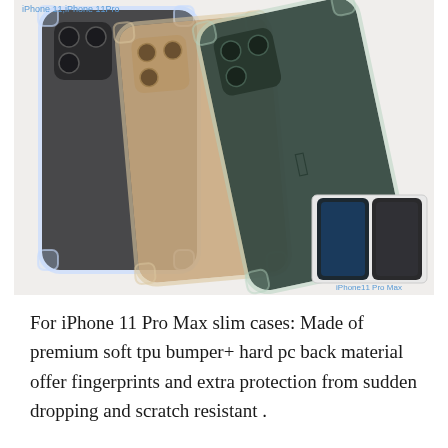[Figure (photo): Product photo showing three iPhone 11 Pro/Pro Max cases in clear/transparent style fanned out, showing the back of the phones in dark grey, gold/champagne, and midnight green colors. A small inset image in the bottom right shows two iPhone 11 Pro Max phones side by side. Text labels read 'iPhone 11,iPhone 11Pro' at top left and 'iPhone11 Pro Max' at bottom right.]
For iPhone 11 Pro Max slim cases: Made of premium soft tpu bumper+ hard pc back material offer fingerprints and extra protection from sudden dropping and scratch resistant .